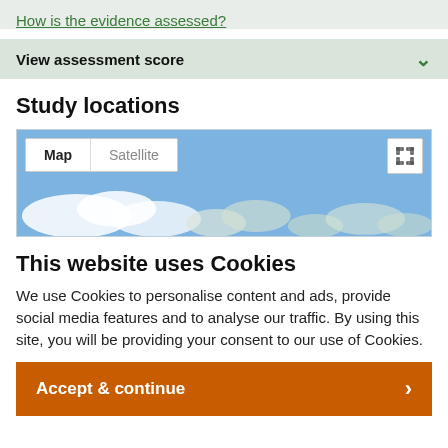How is the evidence assessed?
View assessment score
Study locations
[Figure (screenshot): Google Maps embed showing Map and Satellite toggle buttons, a fullscreen icon, and a partial aerial/cloud view of a map area with blue sky background]
This website uses Cookies
We use Cookies to personalise content and ads, provide social media features and to analyse our traffic. By using this site, you will be providing your consent to our use of Cookies.
Accept & continue